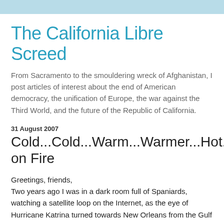The California Libre Screed
From Sacramento to the smouldering wreck of Afghanistan, I post articles of interest about the end of American democracy, the unification of Europe, the war against the Third World, and the future of the Republic of California.
31 August 2007
Cold...Cold...Warm...Warmer...Hot...Hot...You're on Fire
Greetings, friends,
Two years ago I was in a dark room full of Spaniards, watching a satellite loop on the Internet, as the eye of Hurricane Katrina turned towards New Orleans from the Gulf of Mexico, thinking if the clouds were heavy at that fire old...